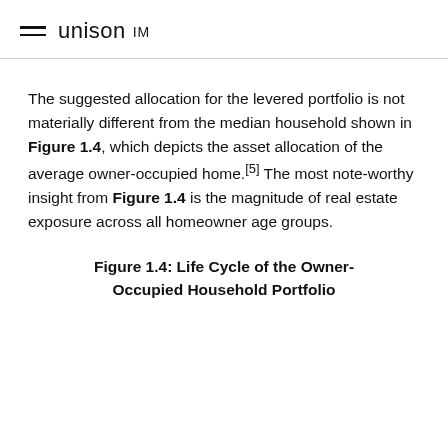unison IM
The suggested allocation for the levered portfolio is not materially different from the median household shown in Figure 1.4, which depicts the asset allocation of the average owner-occupied home.[5] The most note-worthy insight from Figure 1.4 is the magnitude of real estate exposure across all homeowner age groups.
Figure 1.4: Life Cycle of the Owner-Occupied Household Portfolio